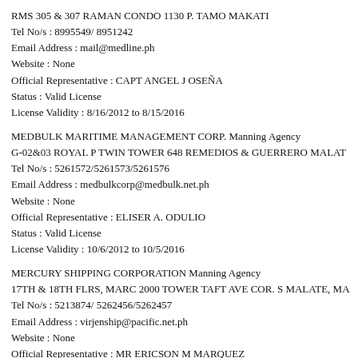RMS 305 & 307 RAMAN CONDO 1130 P. TAMO MAKATI
Tel No/s : 8995549/ 8951242
Email Address : mail@medline.ph
Website : None
Official Representative : CAPT ANGEL J OSEÑA
Status : Valid License
License Validity : 8/16/2012 to 8/15/2016
MEDBULK MARITIME MANAGEMENT CORP. Manning Agency
G-02&03 ROYAL P TWIN TOWER 648 REMEDIOS & GUERRERO MALAT
Tel No/s : 5261572/5261573/5261576
Email Address : medbulkcorp@medbulk.net.ph
Website : None
Official Representative : ELISER A. ODULIO
Status : Valid License
License Validity : 10/6/2012 to 10/5/2016
MERCURY SHIPPING CORPORATION Manning Agency
17TH & 18TH FLRS, MARC 2000 TOWER TAFT AVE COR. S MALATE, MA
Tel No/s : 5213874/ 5262456/5262457
Email Address : virjenship@pacific.net.ph
Website : None
Official Representative : MR ERICSON M MARQUEZ